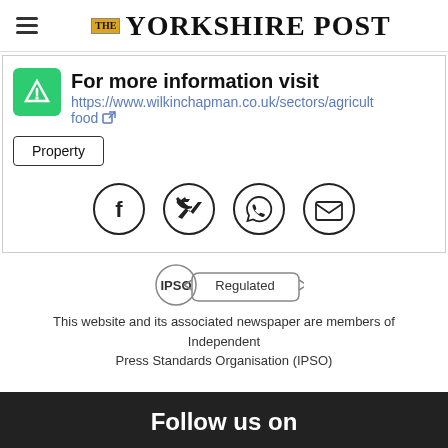THE YORKSHIRE POST
For more information visit https://www.wilkinchapman.co.uk/sectors/agricult food
Property
[Figure (infographic): Social sharing icons: Facebook, Twitter, WhatsApp, Email — each in a circle]
[Figure (logo): IPSO Regulated badge]
This website and its associated newspaper are members of Independent Press Standards Organisation (IPSO)
Follow us on